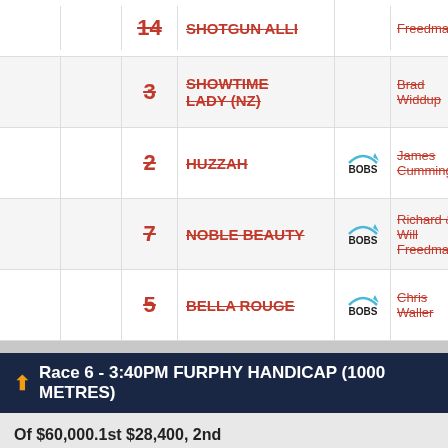|  |  | # | Horse | Logo | Trainer | Jockey |
| --- | --- | --- | --- | --- | --- | --- |
|  |  | 14 | SHOTGUN ALLI |  | Freedman | Scho... |
|  |  | 3 | SHOWTIME LADY (NZ) |  | Brad Widdup | Ms R... King |
|  |  | 2 | HUZZAH | BOBS | James Cummings | Sam Clipp... |
|  |  | 7 | NOBLE BEAUTY | BOBS | Richard & Will Freedman | Reece Jones (a2/5...) |
|  |  | 5 | BELLA ROUGE | BOBS | Chris Waller | Brent Avdul... |
Race 6 - 3:40PM FURPHY HANDICAP (1000 METRES)
Of $60,000.1st $28,400, 2nd $10,600, 3rd $5,500, 4th $3,600, 5th $2,400, 6th $1,800, 7th $1,625, 8th $1,625, 9th $1,625, 10th $1,625, Equine Welfare Fund $600, Jockey Welfare Fund $300